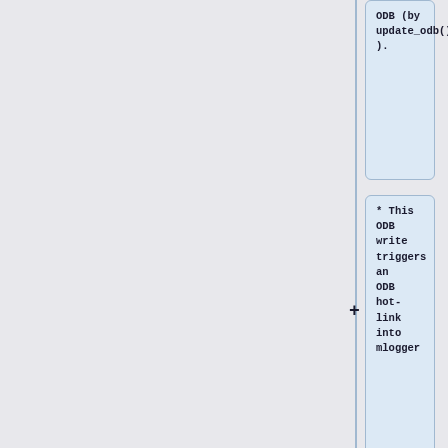ODB (by update_odb()).
* This ODB write triggers an ODB hot-link into mlogger
* The hot-link calls mlogger.c::log_history(), which calls hs_write() to write the data into the history file. The frequency of